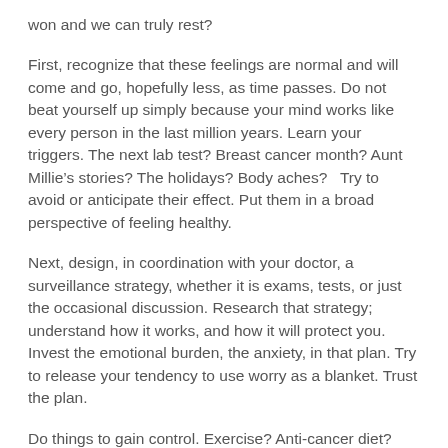won and we can truly rest?
First, recognize that these feelings are normal and will come and go, hopefully less, as time passes.  Do not beat yourself up simply because your mind works like every person in the last million years.  Learn your triggers.  The next lab test?  Breast cancer month?  Aunt Millie’s stories?  The holidays? Body aches?   Try to avoid or anticipate their effect.  Put them in a broad perspective of feeling healthy.
Next, design, in coordination with your doctor, a surveillance strategy, whether it is exams, tests, or just the occasional discussion.  Research that strategy; understand how it works, and how it will protect you.  Invest the emotional burden, the anxiety, in that plan.  Try to release your tendency to use worry as a blanket.  Trust the plan.
Do things to gain control.  Exercise?  Anti-cancer diet?  Reiki?  Yoga?  Teaching? Volunteering? Art? Work? Travel?  Sex?  Reading? Taking active command, organizing your future, is not denial.  The key to killing the bear is action and control.  No hunter ever talked a bear to death.
Do not be embarrassed to share that you are frequently threatened by the possibility of relapse.  Discuss it with family or friends, counselor or a support group.  You are not nuts and definitely not alone.  This is